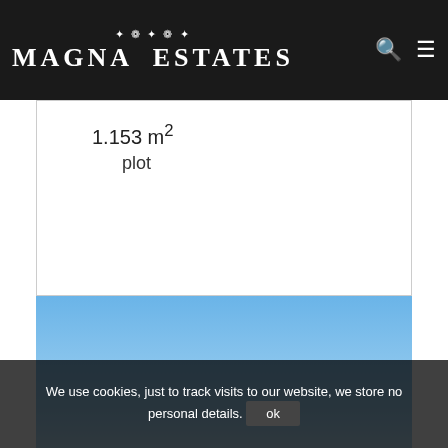MAGNA ESTATES
1.153 m² plot
[Figure (photo): Sky photo with light blue gradient, distant landscape silhouette visible at bottom]
We use cookies, just to track visits to our website, we store no personal details. ok